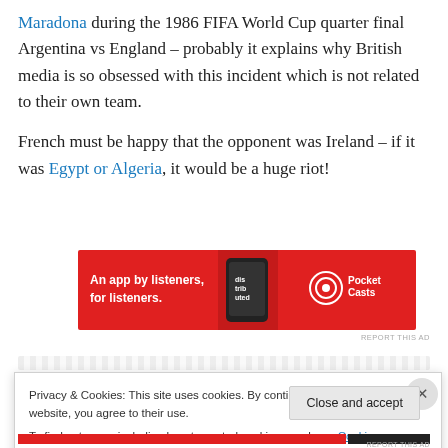Maradona during the 1986 FIFA World Cup quarter final Argentina vs England – probably it explains why British media is so obsessed with this incident which is not related to their own team.
French must be happy that the opponent was Ireland – if it was Egypt or Algeria, it would be a huge riot!
[Figure (screenshot): Red advertisement banner for Pocket Casts app: 'An app by listeners, for listeners.' with phone image and Pocket Casts logo]
REPORT THIS AD
Privacy & Cookies: This site uses cookies. By continuing to use this website, you agree to their use. To find out more, including how to control cookies, see here: Cookie Policy
Close and accept